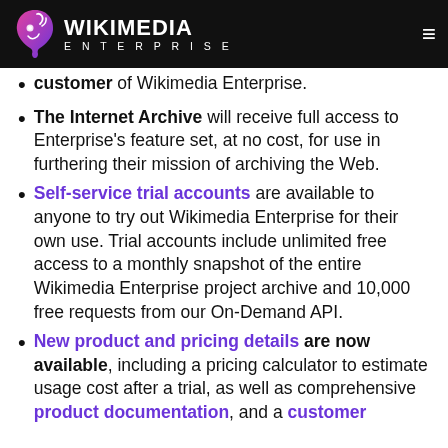WIKIMEDIA ENTERPRISE
customer of Wikimedia Enterprise.
The Internet Archive will receive full access to Enterprise's feature set, at no cost, for use in furthering their mission of archiving the Web.
Self-service trial accounts are available to anyone to try out Wikimedia Enterprise for their own use. Trial accounts include unlimited free access to a monthly snapshot of the entire Wikimedia Enterprise project archive and 10,000 free requests from our On-Demand API.
New product and pricing details are now available, including a pricing calculator to estimate usage cost after a trial, as well as comprehensive product documentation, and a customer